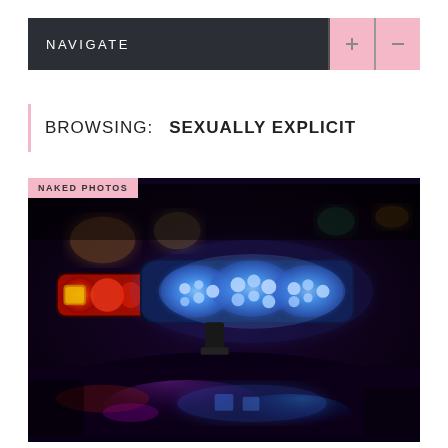NAVIGATE
BROWSING:    SEXUALLY EXPLICIT
NAKED PHOTOS
[Figure (photo): Close-up photo of police car emergency lights (blue and red flashing lights / siren bar) at night, with light reflections on the hood of the vehicle.]